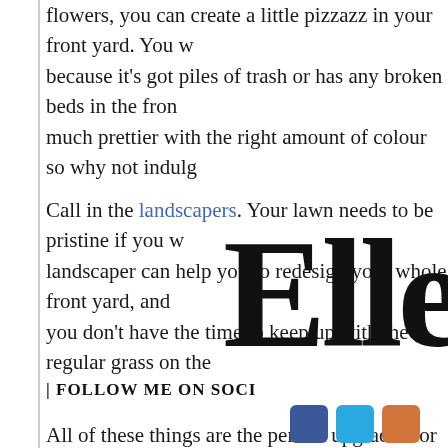flowers, you can create a little pizzazz in your front yard. You because it’s got piles of trash or has any broken beds in the fro much prettier with the right amount of colour so why not indul
Call in the landscapers. Your lawn needs to be pristine if you w landscaper can help you to redesign your whole front yard, and you don’t have the time to keep up with the regular grass on the
All of these things are the perfect upgrades for your home to sta
[Figure (illustration): Handwritten signature reading 'Elle' (partially visible, cut off at right edge)]
| FOLLOW ME ON SOCI
[Figure (illustration): Social media icons (Facebook blue, Twitter/teal, and an orange icon) partially visible at bottom]